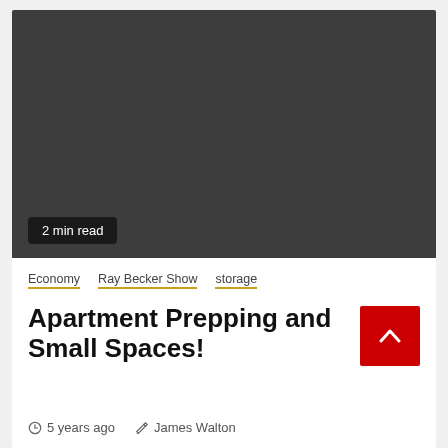[Figure (photo): Dark grey placeholder image area for article thumbnail]
2 min read
Economy  Ray Becker Show  storage
Apartment Prepping and Small Spaces!
5 years ago  James Walton